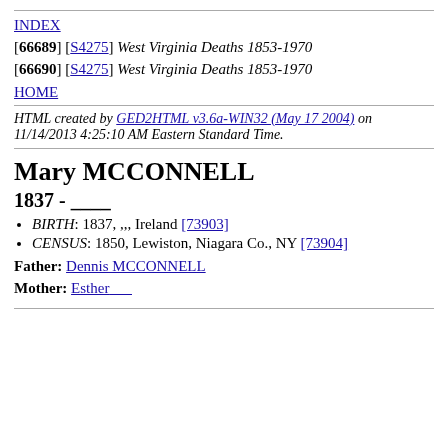INDEX
[66689] [S4275] West Virginia Deaths 1853-1970
[66690] [S4275] West Virginia Deaths 1853-1970
HOME
HTML created by GED2HTML v3.6a-WIN32 (May 17 2004) on 11/14/2013 4:25:10 AM Eastern Standard Time.
Mary MCCONNELL
1837 - ____
BIRTH: 1837, ,,, Ireland [73903]
CENSUS: 1850, Lewiston, Niagara Co., NY [73904]
Father: Dennis MCCONNELL
Mother: Esther____